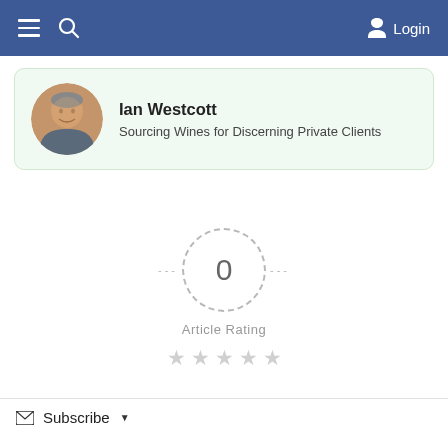≡  🔍  Login
[Figure (photo): Profile card showing Ian Westcott with circular avatar photo]
Ian Westcott
Sourcing Wines for Discerning Private Clients
[Figure (infographic): Article rating widget showing 0 in dashed circle with 5 empty stars]
Article Rating
Subscribe ▾